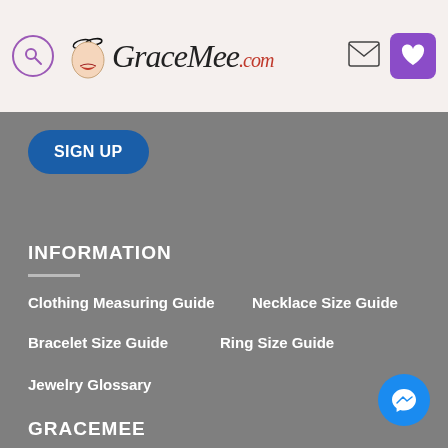GraceMee.com — website header with search icon, logo, mail icon, and heart/wishlist icon
[Figure (screenshot): GraceMee.com website header with purple search circle, face logo, GraceMee.com text logo, mail envelope icon, purple heart button]
SIGN UP
INFORMATION
Clothing Measuring Guide
Necklace Size Guide
Bracelet Size Guide
Ring Size Guide
Jewelry Glossary
GRACEMEE